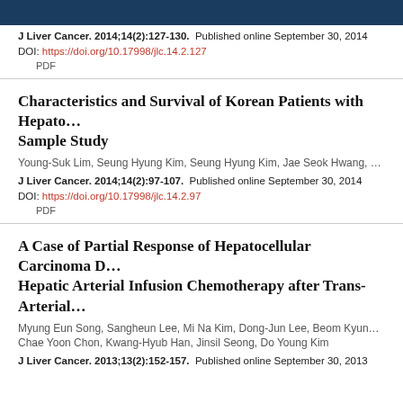J Liver Cancer. 2014;14(2):127-130. Published online September 30, 2014
DOI: https://doi.org/10.17998/jlc.14.2.127
PDF
Characteristics and Survival of Korean Patients with Hepato... Sample Study
Young-Suk Lim, Seung Hyung Kim, Seung Hyung Kim, Jae Seok Hwang, ...
J Liver Cancer. 2014;14(2):97-107. Published online September 30, 2014
DOI: https://doi.org/10.17998/jlc.14.2.97
PDF
A Case of Partial Response of Hepatocellular Carcinoma D... Hepatic Arterial Infusion Chemotherapy after Trans-Arterial...
Myung Eun Song, Sangheun Lee, Mi Na Kim, Dong-Jun Lee, Beom Kyun... Chae Yoon Chon, Kwang-Hyub Han, Jinsil Seong, Do Young Kim
J Liver Cancer. 2013;13(2):152-157. Published online September 30, 2013